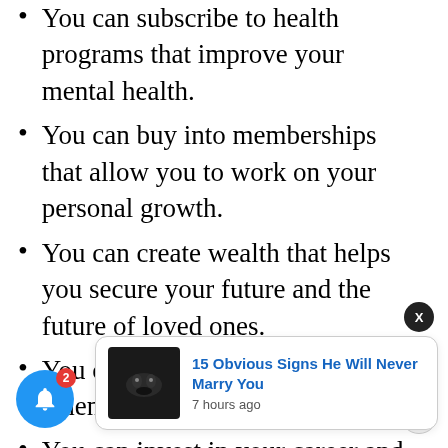You can subscribe to health programs that improve your mental health.
You can buy into memberships that allow you to work on your personal growth.
You can create wealth that helps you secure your future and the future of loved ones.
You can get the best medical care when you need it.
You can invest in your career and skyr...
You...
[Figure (screenshot): Website notification popup overlay showing '15 Obvious Signs He Will Never Marry You' with a dark thumbnail image, posted 7 hours ago, with a close button (X) in the top right and a blue notification bell with badge count of 2 in the bottom left.]